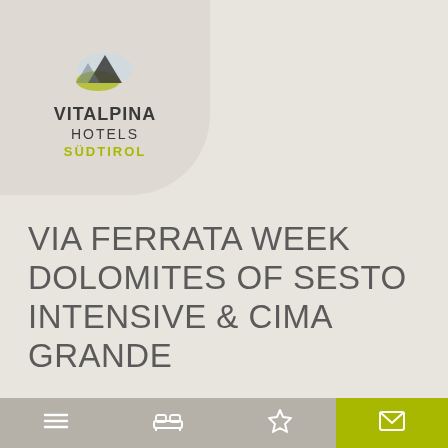[Figure (logo): Vitalpina Hotels Südtirol logo with mountain/landscape icon above text]
VIA FERRATA WEEK DOLOMITES OF SESTO INTENSIVE & CIMA GRANDE
from 27.05.2022 to 17.10.2022
7 nights
from 1,667.00 € per person
BERGHOTEL SEXTEN ****
Navigation bar with menu, hotel/bed, star, and mail icons